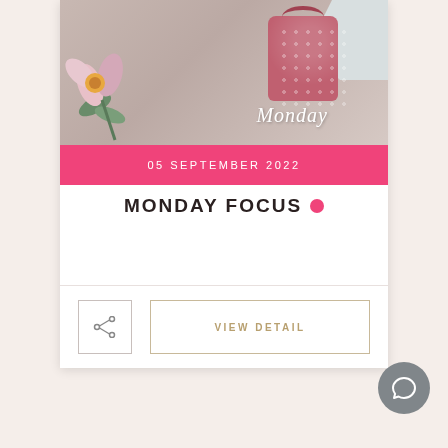[Figure (photo): A lifestyle photo showing a person with a pink/mauve fabric storage basket, with floral decorations. The word 'Monday' is written in cursive white text over the image.]
05 SEPTEMBER 2022
MONDAY FOCUS
[Figure (other): Share icon button in a square border]
VIEW DETAIL
[Figure (other): Chat bubble / message icon button (dark gray circle)]